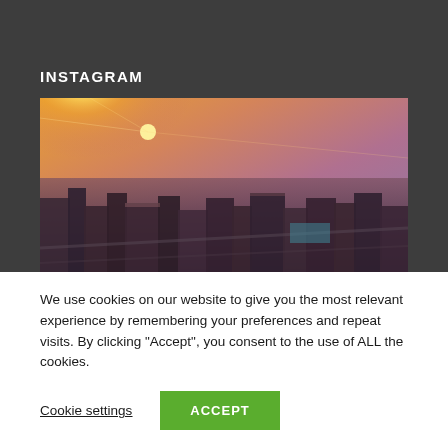INSTAGRAM
[Figure (photo): Aerial/drone sunset view of a city with buildings and warm orange-purple sky]
We use cookies on our website to give you the most relevant experience by remembering your preferences and repeat visits. By clicking “Accept”, you consent to the use of ALL the cookies.
Cookie settings
ACCEPT